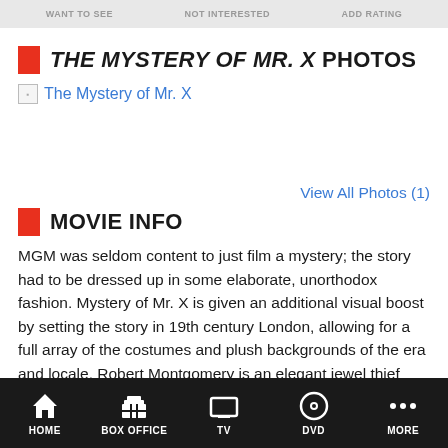WANT TO SEE   NOT INTERESTED   ADD RATING
THE MYSTERY OF MR. X PHOTOS
[Figure (photo): Broken image placeholder link for The Mystery of Mr. X]
View All Photos (1)
MOVIE INFO
MGM was seldom content to just film a mystery; the story had to be dressed up in some elaborate, unorthodox fashion. Mystery of Mr. X is given an additional visual boost by setting the story in 19th century London, allowing for a full array of the costumes and plush backgrounds of the era and locale. Robert Montgomery is an elegant jewel thief who happens to be...
HOME   BOX OFFICE   TV   DVD   MORE